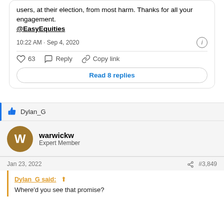users, at their election, from most harm. Thanks for all your engagement. @EasyEquities
10:22 AM · Sep 4, 2020
63  Reply  Copy link
Read 8 replies
Dylan_G
warwickw
Expert Member
Jan 23, 2022  #3,849
Dylan_G said:
Where'd you see that promise?